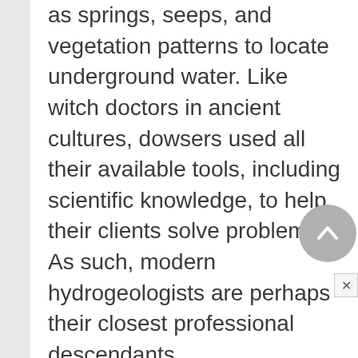as springs, seeps, and vegetation patterns to locate underground water. Like witch doctors in ancient cultures, dowsers used all their available tools, including scientific knowledge, to help their clients solve problems. As such, modern hydrogeologists are perhaps their closest professional descendants.
Modern-day dowsers claim to find water entirely with their spiritually enhanced extrasensory powers. They assert that groundwater has a